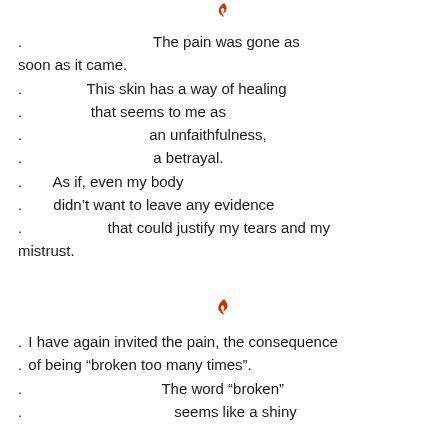[Figure (illustration): Small red flame icon at top center of page]
. The pain was gone as soon as it came.
. This skin has a way of healing
. that seems to me as
. an unfaithfulness,
. a betrayal.
. As if, even my body
. didn't want to leave any evidence
. that could justify my tears and my mistrust.
[Figure (illustration): Small red flame icon at middle center of page]
. I have again invited the pain, the consequence
. of being “broken too many times”.
. The word “broken”
. seems like a shiny